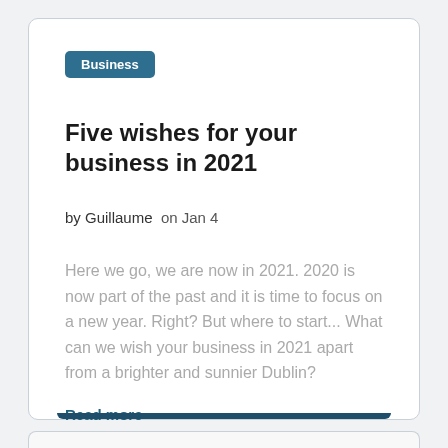Business
Five wishes for your business in 2021
by Guillaume  on Jan 4
Here we go, we are now in 2021. 2020 is now part of the past and it is time to focus on a new year. Right? But where to start... What can we wish your business in 2021 apart from a brighter and sunnier Dublin?
Read more →